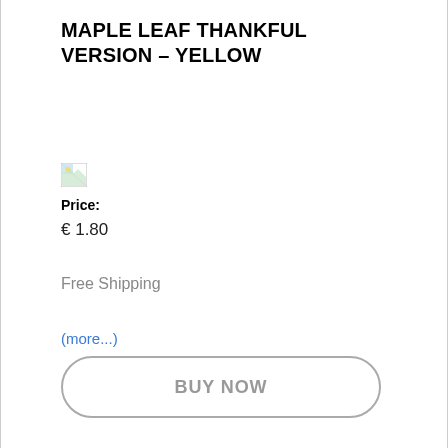MAPLE LEAF THANKFUL VERSION – YELLOW
[Figure (illustration): Broken image placeholder icon (small thumbnail with missing image icon)]
Price:
€ 1.80
Free Shipping
(more...)
BUY NOW